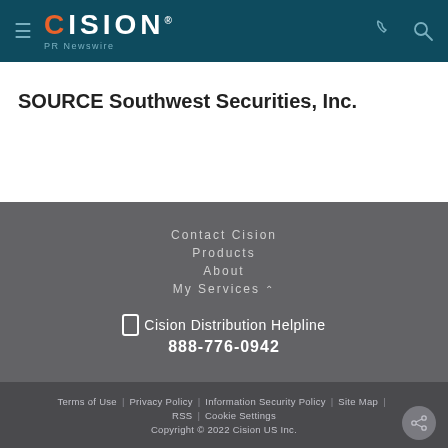Cision PR Newswire
SOURCE Southwest Securities, Inc.
Contact Cision
Products
About
My Services
Cision Distribution Helpline 888-776-0942
Terms of Use | Privacy Policy | Information Security Policy | Site Map | RSS | Cookie Settings Copyright © 2022 Cision US Inc.